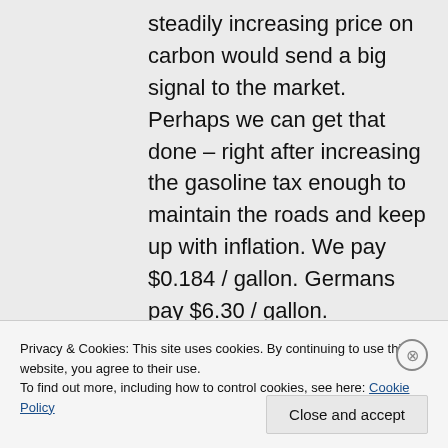steadily increasing price on carbon would send a big signal to the market. Perhaps we can get that done – right after increasing the gasoline tax enough to maintain the roads and keep up with inflation. We pay $0.184 / gallon. Germans pay $6.30 / gallon.
Privacy & Cookies: This site uses cookies. By continuing to use this website, you agree to their use.
To find out more, including how to control cookies, see here: Cookie Policy